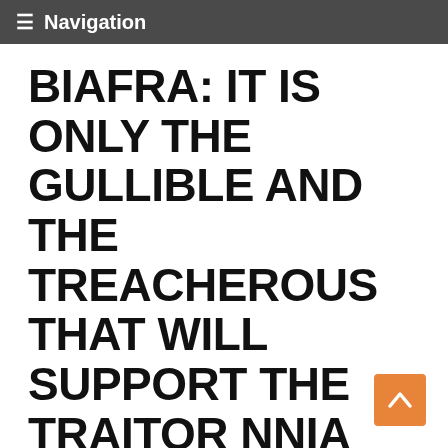≡ Navigation
BIAFRA: IT IS ONLY THE GULLIBLE AND THE TREACHEROUS THAT WILL SUPPORT THE TRAITOR NNIA NWODO'S RESTRUCTURING SUMMIT
At 12:35 Am   Biafra, IPOB, Nnamdi Kanu, Ohanaeze,